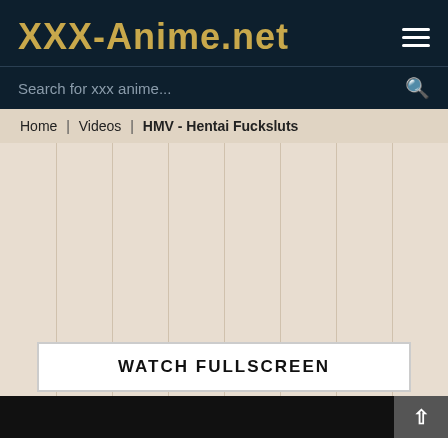XXX-Anime.net
Search for xxx anime...
Home | Videos | HMV - Hentai Fucksluts
[Figure (other): Large beige/tan area with vertical stripe pattern, representing a video player loading area]
WATCH FULLSCREEN
Back to top arrow button